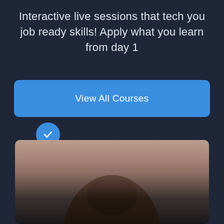Interactive live sessions that tech you job ready skills! Apply what you learn from day 1
View All Courses
[Figure (illustration): Blue circular checkmark icon]
[Figure (photo): Person with dark hair photographed in front of a brick wall background]